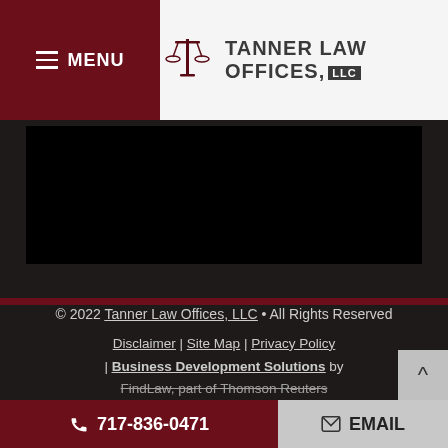MENU | TANNER LAW OFFICES, LLC
[Figure (screenshot): Dark video/image placeholder area on law firm website]
© 2022 Tanner Law Offices, LLC • All Rights Reserved
Disclaimer | Site Map | Privacy Policy | Business Development Solutions by FindLaw, part of Thomson Reuters
717-836-0471   EMAIL